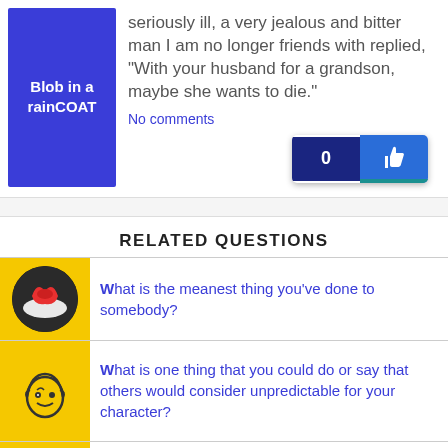[Figure (logo): Blue square with white bold text: Blob in a rainCOAT]
seriously ill, a very jealous and bitter man I am no longer friends with replied, “With your husband for a grandson, maybe she wants to die.”
No comments
[Figure (infographic): Like button with count 0 and thumbs up icon]
RELATED QUESTIONS
[Figure (photo): Yellow background with circular photo of a red butterfly on white flowers]
What is the meanest thing you've done to somebody?
[Figure (illustration): Yellow background with winking smiley face wearing a bag/hat illustration]
What is one thing that you could do or say that others would consider unpredictable for your character?
[Figure (illustration): Yellow background with smiley face illustration (partial)]
What Is The One Thing You